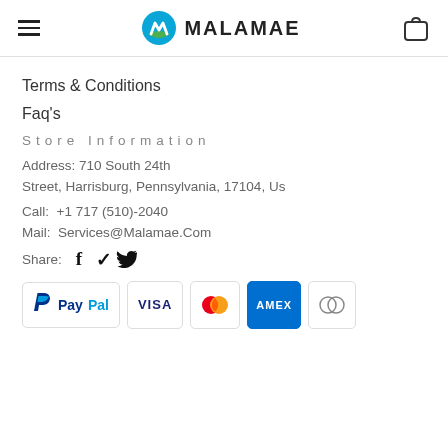MALAMAE
Terms & Conditions
Faq's
Store Information
Address: 710 South 24th Street, Harrisburg, Pennsylvania, 17104, Us
Call: +1 717 (510)-2040
Mail: Services@Malamae.Com
Share:
[Figure (other): Payment method logos: PayPal, Visa, Mastercard, American Express, Diners Club]